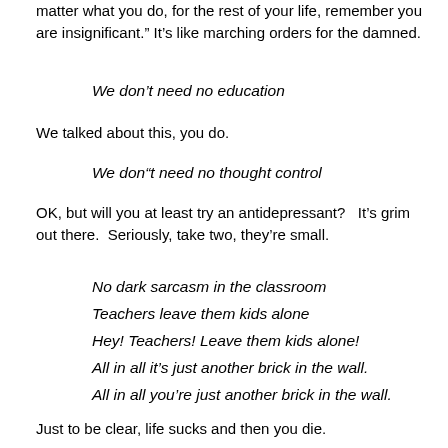matter what you do, for the rest of your life, remember you are insignificant.”  It’s like marching orders for the damned.
We don’t need no education
We talked about this, you do.
We don“t need no thought control
OK, but will you at least try an antidepressant?   It’s grim out there.  Seriously, take two, they’re small.
No dark sarcasm in the classroom
Teachers leave them kids alone
Hey! Teachers! Leave them kids alone!
All in all it’s just another brick in the wall.
All in all you’re just another brick in the wall.
Just to be clear, life sucks and then you die.